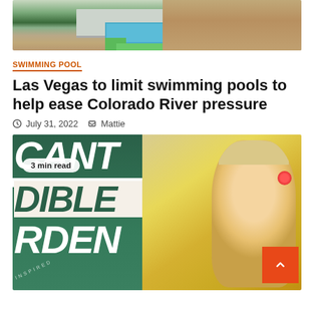[Figure (photo): Aerial view of a modern house with a swimming pool surrounded by green lawn and desert rocky terrain]
SWIMMING POOL
Las Vegas to limit swimming pools to help ease Colorado River pressure
July 31, 2022   Mattie
[Figure (photo): A woman in a yellow sweater with red earrings, smiling, overlaid with green text reading CANT DIBLE RDEN, with a badge reading 3 min read]